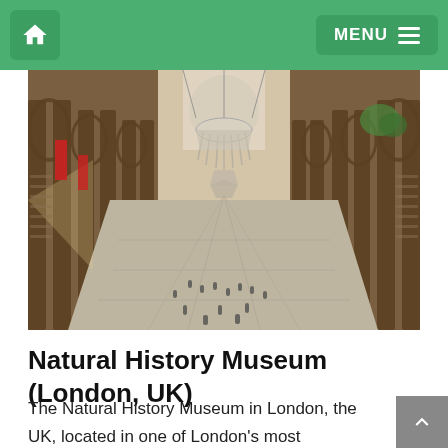Home | MENU
[Figure (photo): Interior of the Natural History Museum in London, showing the grand hall with arched ceilings, stone pillars, a large whale skeleton suspended from the ceiling, and visitors walking on the tiled floor below.]
Natural History Museum (London, UK)
The Natural History Museum in London, the UK, located in one of London's most stunning landmark buildings, is home to thousands of intriguing and engaging exhibits.